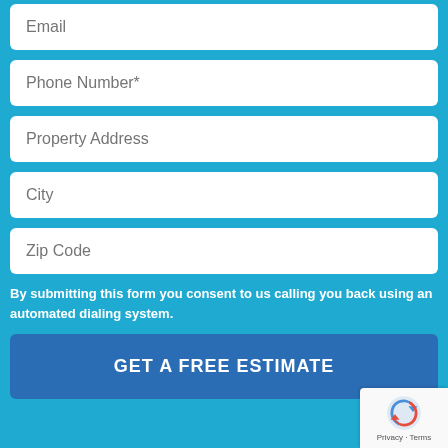Email
Phone Number*
Property Address
City
Zip Code
By submitting this form you consent to us calling you back using an automated dialing system.
GET A FREE ESTIMATE